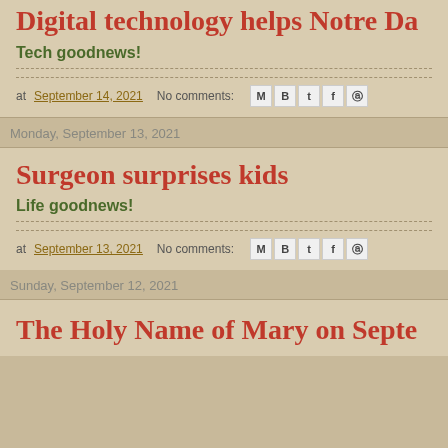Digital technology helps Notre Da…
Tech goodnews!
at September 14, 2021  No comments:
Monday, September 13, 2021
Surgeon surprises kids
Life goodnews!
at September 13, 2021  No comments:
Sunday, September 12, 2021
The Holy Name of Mary on Septe…